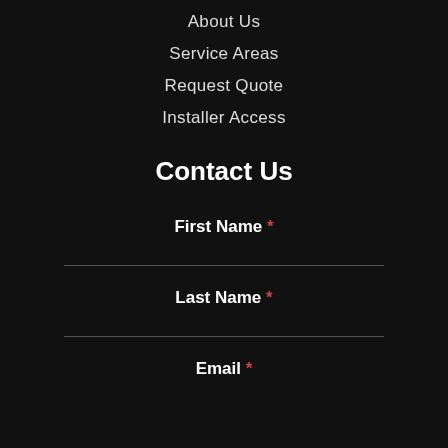About Us
Service Areas
Request Quote
Installer Access
Contact Us
First Name *
Last Name *
Email *